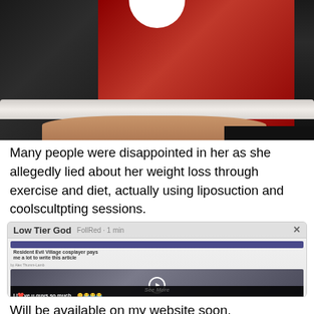[Figure (photo): Photo of two people in costumes — one in a black outfit and one in a red outfit with white fur trim, cropped to show lower body/skirts]
Many people were disappointed in her as she allegedly lied about her weight loss through exercise and diet, actually using liposuction and coolscultpting sessions.
[Figure (screenshot): Screenshot of a social media post by 'Low Tier God' showing a browser with a Resident Evil Village cosplayer article, a video thumbnail with a play button, and overlay text 'I love u guys so much', along with a 'See More' link at the bottom]
Will be available on my website soon.